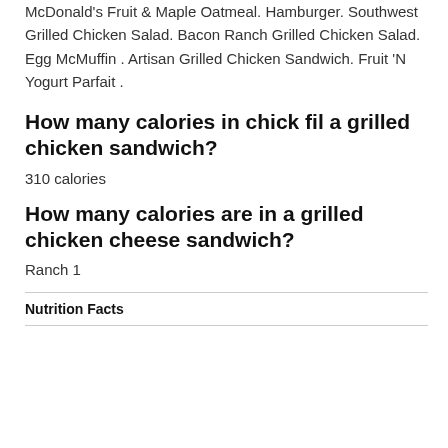McDonald's Fruit & Maple Oatmeal. Hamburger. Southwest Grilled Chicken Salad. Bacon Ranch Grilled Chicken Salad. Egg McMuffin . Artisan Grilled Chicken Sandwich. Fruit 'N Yogurt Parfait .
How many calories in chick fil a grilled chicken sandwich?
310 calories
How many calories are in a grilled chicken cheese sandwich?
Ranch 1
Nutrition Facts